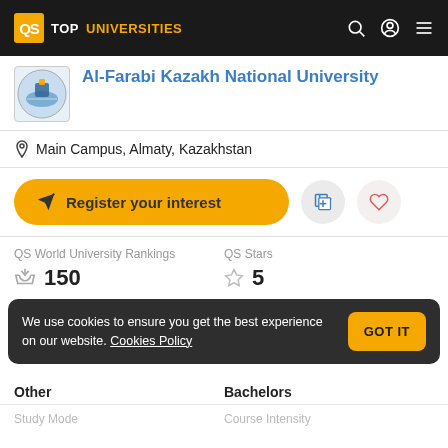QS TOPUNIVERSITIES
Al-Farabi Kazakh National University
Main Campus, Almaty, Kazakhstan
Register your interest
QS World University Rankings
150
QS Stars
5
We use cookies to ensure you get the best experience on our website. Cookies Policy  GOT IT
Other
Bachelors
Study Mode
Course Intensity